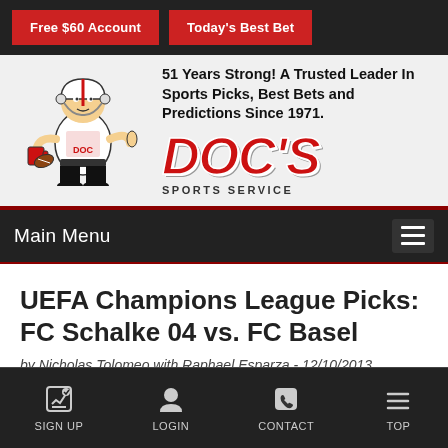Free $60 Account | Today's Best Bet
[Figure (logo): Doc's Sports Service logo with football mascot character and text '51 Years Strong! A Trusted Leader In Sports Picks, Best Bets and Predictions Since 1971.']
Main Menu
UEFA Champions League Picks: FC Schalke 04 vs. FC Basel
by Nicholas Tolomeo with Raphael Esparza - 12/10/2013
SIGN UP  LOGIN  CONTACT  TOP